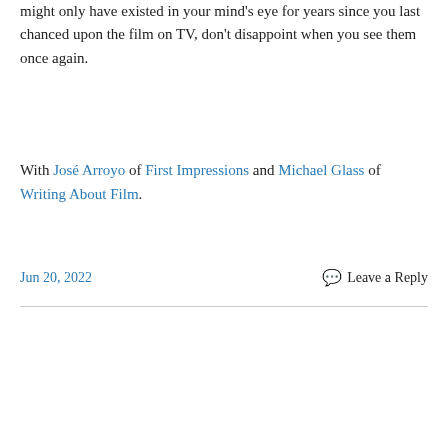might only have existed in your mind's eye for years since you last chanced upon the film on TV, don't disappoint when you see them once again.
With José Arroyo of First Impressions and Michael Glass of Writing About Film.
Jun 20, 2022    💬 Leave a Reply
[Figure (screenshot): Movie banner for 'Everything Everywhere All At Once' with yellow text on black background, partially obscured by a cookie consent popup. Cookie banner reads: 'Privacy & Cookies: This site uses cookies. By continuing to use this website, you agree to their use. To find out more, including how to control cookies, see here: Cookie Policy' with a 'Close and accept' button.]